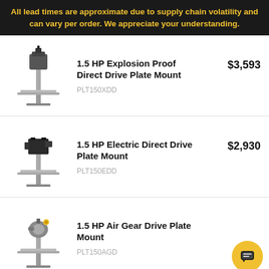All lead times are approximate due to supply chain volatility and can vary per order. We appreciate your understanding.
[Figure (photo): 1.5 HP Explosion Proof Direct Drive Plate Mount mixer unit, showing motor, shaft and square mounting plate]
1.5 HP Explosion Proof Direct Drive Plate Mount
PLT150XDD
$3,593
[Figure (photo): 1.5 HP Electric Direct Drive Plate Mount mixer unit, showing electric motor, shaft and square mounting plate]
1.5 HP Electric Direct Drive Plate Mount
PLT150EDD
$2,930
[Figure (photo): 1.5 HP Air Gear Drive Plate Mount mixer unit, showing air gear drive motor, shaft and square mounting plate]
1.5 HP Air Gear Drive Plate Mount
PLT150AGD